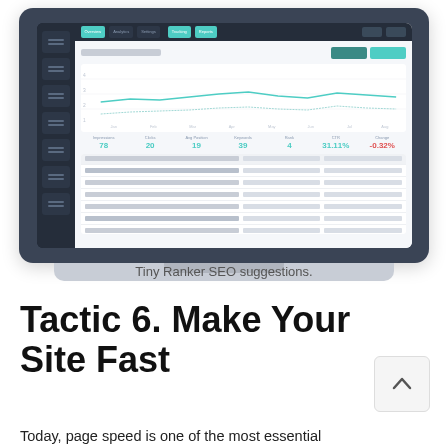[Figure (screenshot): Screenshot of Tiny Ranker SEO dashboard displayed on a laptop. The dashboard shows a dark sidebar navigation on the left, a top navigation bar with teal tabs, a line chart tracking SEO metrics over time, a stats row with values like 78, 20, 19, 39, 4, 31.11%, -0.32%, and a data table listing keywords below the chart.]
Tiny Ranker SEO suggestions.
Tactic 6. Make Your Site Fast
Today, page speed is one of the most essential